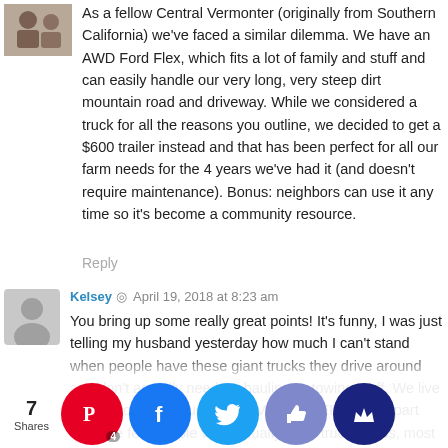As a fellow Central Vermonter (originally from Southern California) we've faced a similar dilemma. We have an AWD Ford Flex, which fits a lot of family and stuff and can easily handle our very long, very steep dirt mountain road and driveway. While we considered a truck for all the reasons you outline, we decided to get a $600 trailer instead and that has been perfect for all our farm needs for the 4 years we've had it (and doesn't require maintenance). Bonus: neighbors can use it any time so it's become a community resource.
Reply
Kelsey  April 19, 2018 at 8:23 am
You bring up some really great points! It's funny, I was just telling my husband yesterday how much I can't stand when people have these giant trucks they drive around and don't actually need for hauling or towing stuff. We live in Oklahoma, so trucks are EVERYWHERE, and apart from the few people who actually have truck needs, most of them are just status symbols. It's hard to see past them, and a fair number of them d[...] ly rec[...] ecaus[...] el imp[...] e. So to [...] you buy a t[...] that you [...] ally need: [...]kes my hea[...]
[Figure (other): Social sharing bar with share count (7 Shares), Pinterest button (with count 4), Facebook button, Twitter button, Likes button, and Crown/bookmark button]